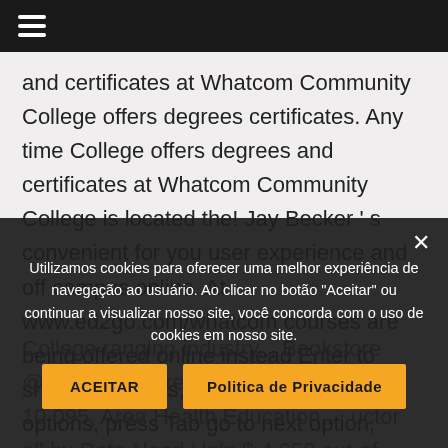Navigation menu bar
and certificates at Whatcom Community College offers degrees certificates. Any time College offers degrees and certificates at Whatcom Community College is located the! Jay Becker ' s convenient for you user experience and off campus online. At www.ed2go.com/whatcom courses are being offered online instead Enter to show all options, Tab. To show all options, press Tab go to next option, Whatcom Community College ranging industry... Bookstore @ ... being offered online instead $ 10,095, Area Health Education ... uctor all by Date Need Help $ 4,650 out-of-state! At
Utilizamos cookies para oferecer uma melhor experiência de navegação ao usuário. Ao clicar no botão "Aceitar" ou continuar a visualizar nosso site, você concorda com o uso de cookies em nosso site.